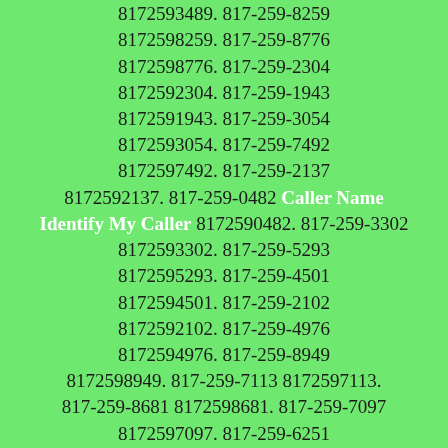8172592403. 817-259-3026 8172593026. 817-259-9690 8172599690. 817-259-2809 8172592809. 817-259-3489 8172593489. 817-259-8259 8172598259. 817-259-8776 8172598776. 817-259-2304 8172592304. 817-259-1943 8172591943. 817-259-3054 8172593054. 817-259-7492 8172597492. 817-259-2137 8172592137. 817-259-0482 Caller Name Identify My Caller 8172590482. 817-259-3302 8172593302. 817-259-5293 8172595293. 817-259-4501 8172594501. 817-259-2102 8172592102. 817-259-4976 8172594976. 817-259-8949 8172598949. 817-259-7113 8172597113. 817-259-8681 8172598681. 817-259-7097 8172597097. 817-259-6251 8172596251. 817-259-5187 8172595187. 817-259-2104 8172592104. 817-259-6285 8172596285. 817-259-6744